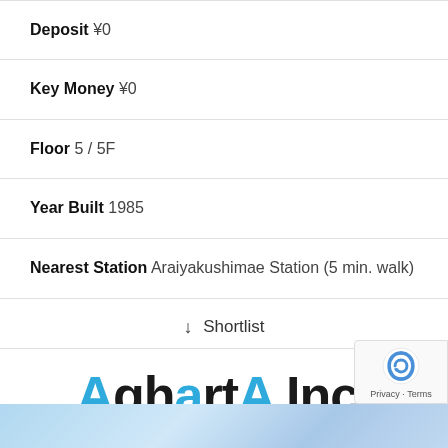| Deposit | ¥0 |
| Key Money | ¥0 |
| Floor | 5 / 5F |
| Year Built | 1985 |
| Nearest Station | Araiyakushimae Station (5 min. walk) |
↓ Shortlist
[Figure (logo): AghartA Inc. company logo in blue and black text with subtitle AGHARTA INC. in orange]
AGHARTA INC.